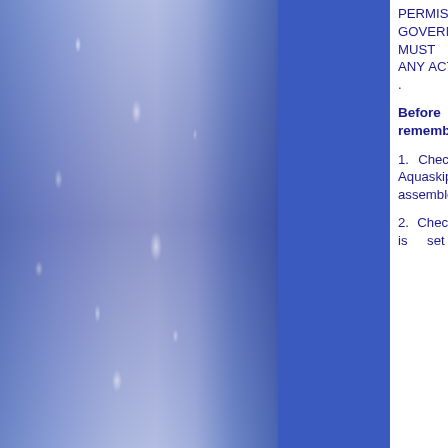PERMISSION OF THE GOVERNING AUTHORITY MUST BE SOUGHT BEFORE ANY ACTIVITY IS UNDERTAKEN.
Before you use Aquaskipper remember to:
1. Check to be sure that the Aquaskipper is properly assembled.
2. Check to be sure the spring is set for the right wieght of